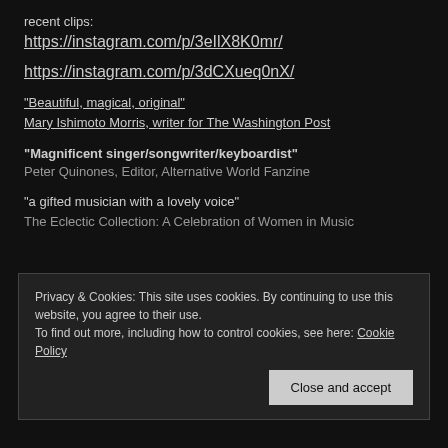recent clips:
https://instagram.com/p/3eIlX8K0mr/
https://instagram.com/p/3dCXueq0nX/
“Beautiful, magical, original”
Mary Ishimoto Morris, writer for The Washington Post
“Magnificent singer/songwriter/keyboardist”
Peter Quinones, Editor, Alternative World Fanzine
“a gifted musician with a lovely voice”
The Eclectic Collection: A Celebration of Women in Music
Privacy & Cookies: This site uses cookies. By continuing to use this website, you agree to their use.
To find out more, including how to control cookies, see here: Cookie Policy
Close and accept